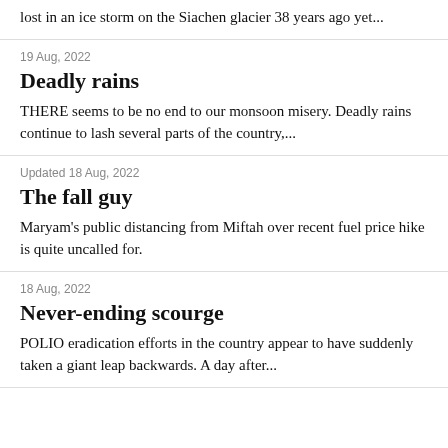lost in an ice storm on the Siachen glacier 38 years ago yet...
19 Aug, 2022
Deadly rains
THERE seems to be no end to our monsoon misery. Deadly rains continue to lash several parts of the country,...
Updated 18 Aug, 2022
The fall guy
Maryam's public distancing from Miftah over recent fuel price hike is quite uncalled for.
18 Aug, 2022
Never-ending scourge
POLIO eradication efforts in the country appear to have suddenly taken a giant leap backwards. A day after...